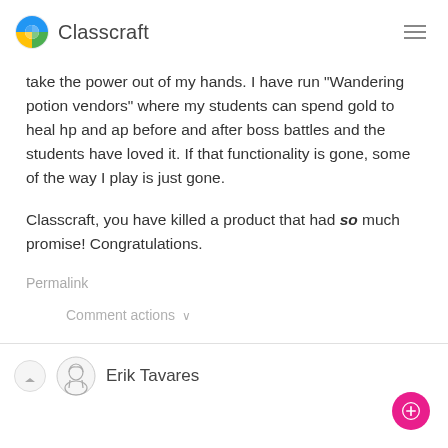Classcraft
take the power out of my hands. I have run "Wandering potion vendors" where my students can spend gold to heal hp and ap before and after boss battles and the students have loved it. If that functionality is gone, some of the way I play is just gone.

Classcraft, you have killed a product that had so much promise! Congratulations.
Permalink
Comment actions ∨
Erik Tavares